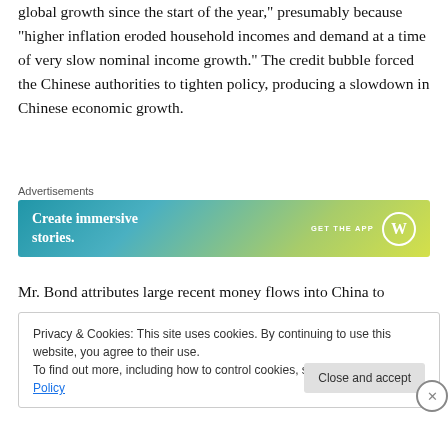global growth since the start of the year," presumably because "higher inflation eroded household incomes and demand at a time of very slow nominal income growth." The credit bubble forced the Chinese authorities to tighten policy, producing a slowdown in Chinese economic growth.
[Figure (other): Advertisement banner: 'Create immersive stories. GET THE APP' with WordPress logo on a blue-to-yellow gradient background.]
Mr. Bond attributes large recent money flows into China to
Privacy & Cookies: This site uses cookies. By continuing to use this website, you agree to their use.
To find out more, including how to control cookies, see here: Cookie Policy